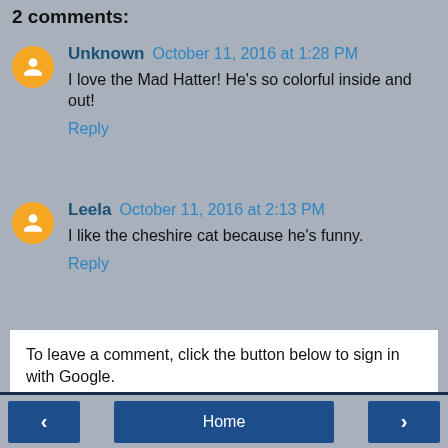2 comments:
Unknown October 11, 2016 at 1:28 PM
I love the Mad Hatter! He's so colorful inside and out!
Reply
Leela October 11, 2016 at 2:13 PM
I like the cheshire cat because he's funny.
Reply
To leave a comment, click the button below to sign in with Google.
SIGN IN WITH GOOGLE
< Home >